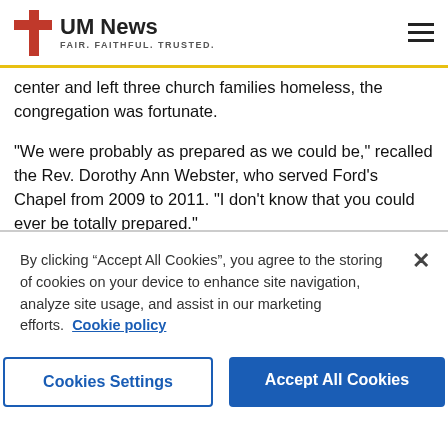UM News FAIR. FAITHFUL. TRUSTED.
center and left three church families homeless, the congregation was fortunate.
"We were probably as prepared as we could be," recalled the Rev. Dorothy Ann Webster, who served Ford's Chapel from 2009 to 2011. "I don't know that you could ever be totally prepared."
On that fateful Wednesday, with rough weather on the way, the staff had followed a prescribed disaster plan. "Preschool students and staff were brought to the basement level, where the office is, and during a break in the storms, parents were notified to get their children," Webster said. Because of the forecast for more severe weather, they cancelled Wednesday evening activities.
By clicking “Accept All Cookies”, you agree to the storing of cookies on your device to enhance site navigation, analyze site usage, and assist in our marketing efforts. Cookie policy
Cookies Settings
Accept All Cookies